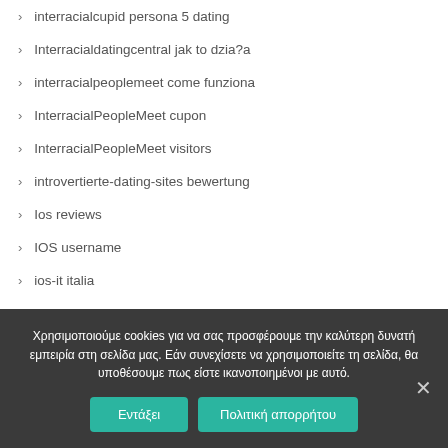interracialcupid persona 5 dating
Interracialdatingcentral jak to dzia?a
interracialpeoplemeet come funziona
InterracialPeopleMeet cupon
InterracialPeopleMeet visitors
introvertierte-dating-sites bewertung
Ios reviews
IOS username
ios-it italia
Χρησιμοποιούμε cookies για να σας προσφέρουμε την καλύτερη δυνατή εμπειρία στη σελίδα μας. Εάν συνεχίσετε να χρησιμοποιείτε τη σελίδα, θα υποθέσουμε πως είστε ικανοποιημένοι με αυτό.
Εντάξει
Πολιτική απορρήτου